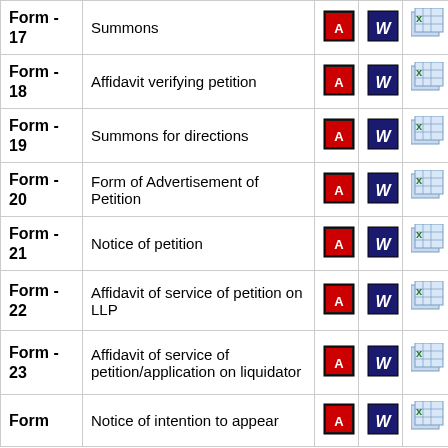| Form | Description | PDF | Word | Excel |
| --- | --- | --- | --- | --- |
| Form - 17 | Summons | [PDF] | [W] | [XL] |
| Form - 18 | Affidavit verifying petition | [PDF] | [W] | [XL] |
| Form - 19 | Summons for directions | [PDF] | [W] | [XL] |
| Form - 20 | Form of Advertisement of Petition | [PDF] | [W] | [XL] |
| Form - 21 | Notice of petition | [PDF] | [W] | [XL] |
| Form - 22 | Affidavit of service of petition on LLP | [PDF] | [W] | [XL] |
| Form - 23 | Affidavit of service of petition/application on liquidator | [PDF] | [W] | [XL] |
| Form | Notice of intention to appear | [PDF] | [W] | [XL] |